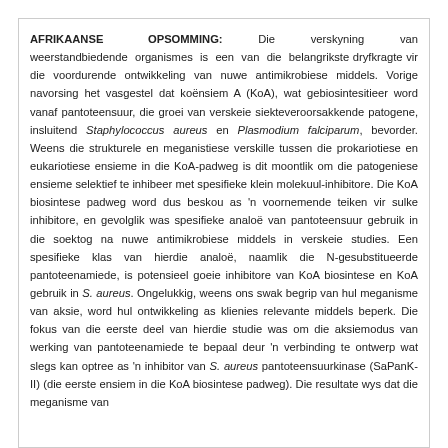AFRIKAANSE OPSOMMING: Die verskyning van weerstandbiedende organismes is een van die belangrikste dryfkragte vir die voordurende ontwikkeling van nuwe antimikrobiese middels. Vorige navorsing het vasgestel dat koënsiem A (KoA), wat gebiosintesitieer word vanaf pantoteensuur, die groei van verskeie siekteveroorsakkende patogene, insluitend Staphylococcus aureus en Plasmodium falciparum, bevorder. Weens die strukturele en meganistiese verskille tussen die prokariotiese en eukariotiese ensieme in die KoA-padweg is dit moontlik om die patogeniese ensieme selektief te inhibeer met spesifieke klein molekuul-inhibitore. Die KoA biosintese padweg word dus beskou as 'n voornemende teiken vir sulke inhibitore, en gevolglik was spesifieke analoë van pantoteensuur gebruik in die soektog na nuwe antimikrobiese middels in verskeie studies. Een spesifieke klas van hierdie analoë, naamlik die N-gesubstitueerde pantoteenamiede, is potensieel goeie inhibitore van KoA biosintese en KoA gebruik in S. aureus. Ongelukkig, weens ons swak begrip van hul meganisme van aksie, word hul ontwikkeling as klienies relevante middels beperk. Die fokus van die eerste deel van hierdie studie was om die aksiemodus van werking van pantoteenamiede te bepaal deur 'n verbinding te ontwerp wat slegs kan optree as 'n inhibitor van S. aureus pantoteensuurkinase (SaPanK-II) (die eerste ensiem in die KoA biosintese padweg). Die resultate wys dat die meganisme van